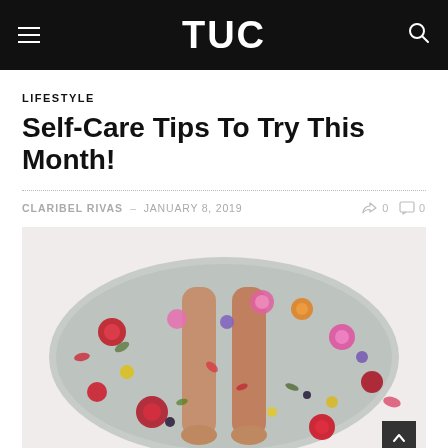TUC
LIFESTYLE
Self-Care Tips To Try This Month!
CLARIBEL RIVAS – JANUARY 8, 2019   0   0
[Figure (photo): Aerial view of a person's legs in a bathtub filled with water and scattered colorful flowers including red roses, pink blooms, and other petals on a white background.]